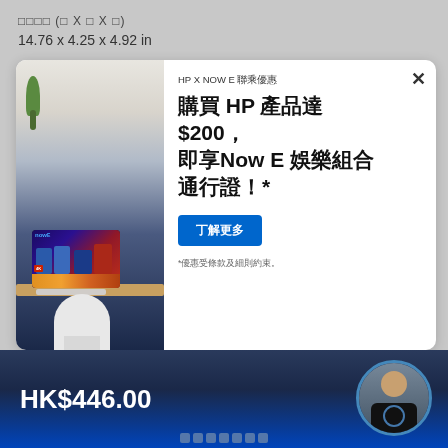(　X 　X 　)
14.76 x 4.25 x 4.92 in
[Figure (screenshot): HP X NOW E promotional banner showing a TV screen with sports content and a desktop setup with monitor]
HP X NOW E 聯乘優惠
購買 HP 產品達 $200，即享Now E 娛樂組合通行證！*
丁解更多
*優惠受條款及細則約束。
HK$446.00
[Figure (photo): Circular avatar photo of a person in dark clothing]